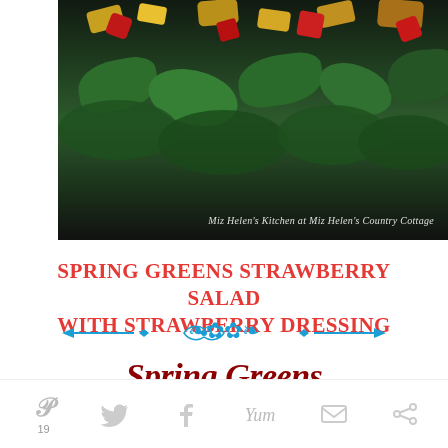[Figure (photo): Close-up photo of a spring greens strawberry salad with red strawberry pieces, green spinach leaves, and other toppings. Caption reads: Miz Helen's Kitchen at Miz Helen's Country Cottage]
SPRING GREENS STRAWBERRY SALAD WITH STRAWBERRY DRESSING
[Figure (illustration): Decorative blue ornamental divider with arrows and scrollwork]
Spring Greens Strawberry Salad & Stra...Dr...
[Figure (infographic): Social sharing bar with Pinterest (19), Twitter, Facebook, Yummly, Email, and another share icon]